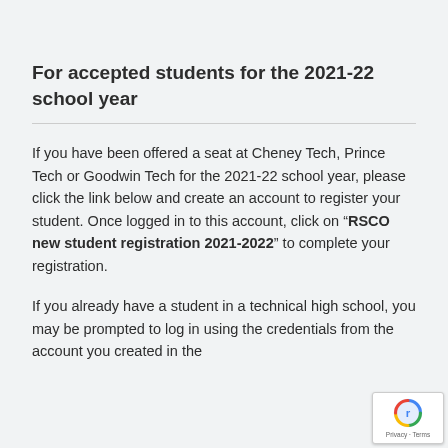For accepted students for the 2021-22 school year
If you have been offered a seat at Cheney Tech, Prince Tech or Goodwin Tech for the 2021-22 school year, please click the link below and create an account to register your student. Once logged in to this account, click on “RSCO new student registration 2021-2022” to complete your registration.
If you already have a student in a technical high school, you may be prompted to log in using the credentials from the account you created in the